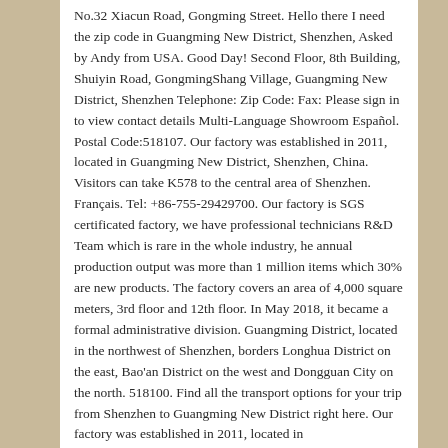No.32 Xiacun Road, Gongming Street. Hello there I need the zip code in Guangming New District, Shenzhen, Asked by Andy from USA. Good Day! Second Floor, 8th Building, Shuiyin Road, GongmingShang Village, Guangming New District, Shenzhen Telephone: Zip Code: Fax: Please sign in to view contact details Multi-Language Showroom Español. Postal Code:518107. Our factory was established in 2011, located in Guangming New District, Shenzhen, China. Visitors can take K578 to the central area of Shenzhen. Français. Tel: +86-755-29429700. Our factory is SGS certificated factory, we have professional technicians R&D Team which is rare in the whole industry, he annual production output was more than 1 million items which 30% are new products. The factory covers an area of 4,000 square meters, 3rd floor and 12th floor. In May 2018, it became a formal administrative division. Guangming District, located in the northwest of Shenzhen, borders Longhua District on the east, Bao'an District on the west and Dongguan City on the north. 518100. Find all the transport options for your trip from Shenzhen to Guangming New District right here. Our factory was established in 2011, located in